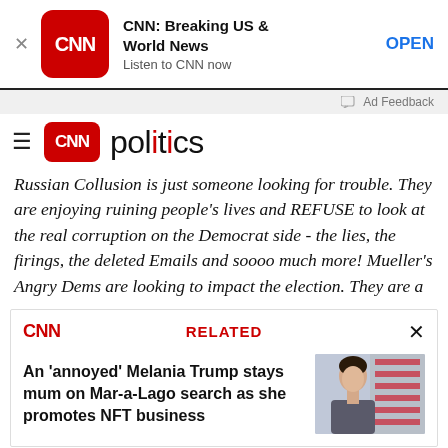[Figure (screenshot): CNN app advertisement banner showing CNN logo, text 'CNN: Breaking US & World News', 'Listen to CNN now', and an OPEN button]
Ad Feedback
[Figure (logo): CNN Politics logo with hamburger menu icon, CNN red logo box, and 'politics' text]
Russian Collusion is just someone looking for trouble. They are enjoying ruining people's lives and REFUSE to look at the real corruption on the Democrat side - the lies, the firings, the deleted Emails and soooo much more! Mueller's Angry Dems are looking to impact the election. They are a
[Figure (screenshot): CNN Related article box showing headline: An 'annoyed' Melania Trump stays mum on Mar-a-Lago search as she promotes NFT business, with photo of Melania Trump]